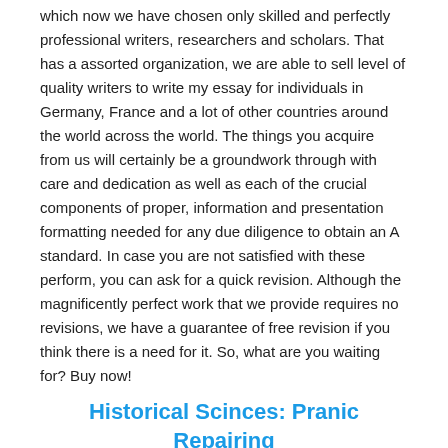which now we have chosen only skilled and perfectly professional writers, researchers and scholars. That has a assorted organization, we are able to sell level of quality writers to write my essay for individuals in Germany, France and a lot of other countries around the world across the world. The things you acquire from us will certainly be a groundwork through with care and dedication as well as each of the crucial components of proper, information and presentation formatting needed for any due diligence to obtain an A standard. In case you are not satisfied with these perform, you can ask for a quick revision. Although the magnificently perfect work that we provide requires no revisions, we have a guarantee of free revision if you think there is a need for it. So, what are you waiting for? Buy now!
Historical Scinces: Pranic Repairing
Pranic Recovering happens to be an early scientific discipline and art work that has been customized and systematized via the founding father of innovative Pranic Curing, Lavish Become an expert in Choa Kok Sui. It really has been utilized to mend a multitude of people today in the age range. The key is not difficult. We realize which every lifestyle having been includes the inborn opportunity to repair itself.